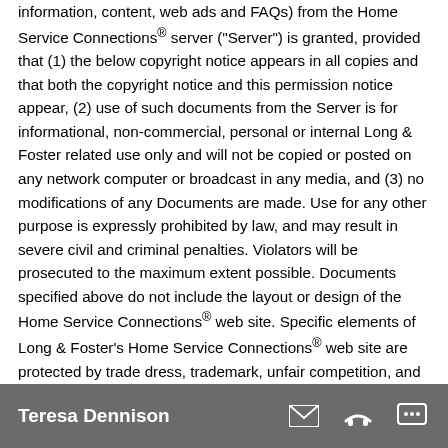information, content, web ads and FAQs) from the Home Service Connections® server ("Server") is granted, provided that (1) the below copyright notice appears in all copies and that both the copyright notice and this permission notice appear, (2) use of such documents from the Server is for informational, non-commercial, personal or internal Long & Foster related use only and will not be copied or posted on any network computer or broadcast in any media, and (3) no modifications of any Documents are made. Use for any other purpose is expressly prohibited by law, and may result in severe civil and criminal penalties. Violators will be prosecuted to the maximum extent possible. Documents specified above do not include the layout or design of the Home Service Connections® web site. Specific elements of Long & Foster's Home Service Connections® web site are protected by trade dress, trademark, unfair competition, and other laws and may not be copied or imitated in whole or in part. No logo, graphic, sound or image from any Home Service Connections® web site may be copied or retransmitted unless expressly permitted by Home Service Connections® via written
Teresa Dennison